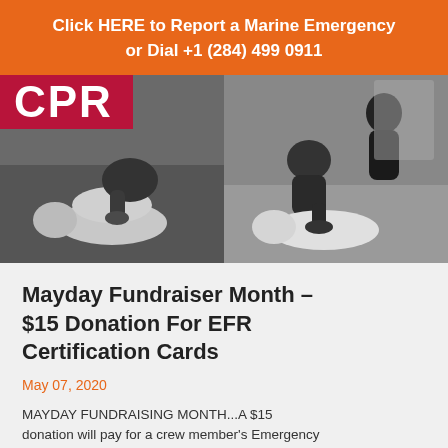Click HERE to Report a Marine Emergency or Dial +1 (284) 499 0911
[Figure (photo): Two black and white photos of CPR being performed on training mannequins. Left photo shows a person performing chest compressions on a mannequin on the floor, with a red CPR logo sign at the top. Right photo shows a person performing CPR on a white mannequin while another person kneels nearby.]
Mayday Fundraiser Month – $15 Donation For EFR Certification Cards
May 07, 2020
MAYDAY FUNDRAISING MONTH...A $15 donation will pay for a crew member's Emergency